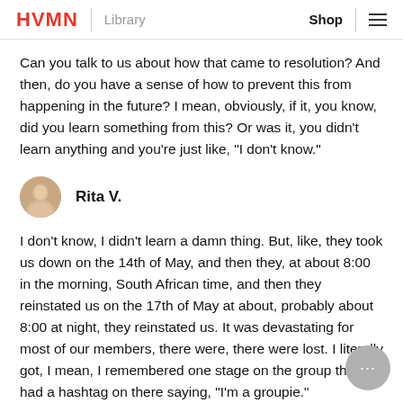HVMN | Library    Shop ≡
Can you talk to us about how that came to resolution? And then, do you have a sense of how to prevent this from happening in the future? I mean, obviously, if it, you know, did you learn something from this? Or was it, you didn't learn anything and you're just like, "I don't know."
Rita V.
I don't know, I didn't learn a damn thing. But, like, they took us down on the 14th of May, and then they, at about 8:00 in the morning, South African time, and then they reinstated us on the 17th of May at about, probably about 8:00 at night, they reinstated us. It was devastating for most of our members, there were, there were lost. I literally got, I mean, I remembered one stage on the group they had a hashtag on there saying, "I'm a groupie."